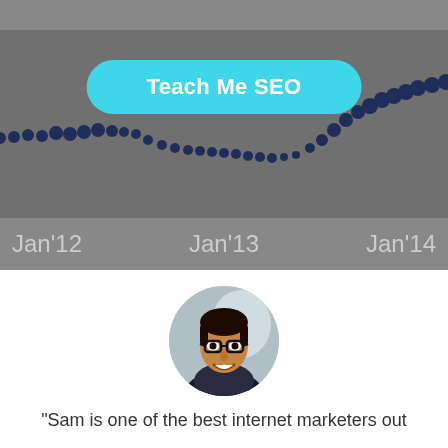[Figure (continuous-plot): Dotted line chart showing trend data from Jan 2012 to Jan 2014, with a 'Teach Me SEO' button overlay. The chart shows a dotted data line across a gray background.]
[Figure (photo): Circular cropped headshot photo of a smiling man with dark hair and glasses, wearing a dark jacket, with a light background.]
"Sam is one of the best internet marketers out